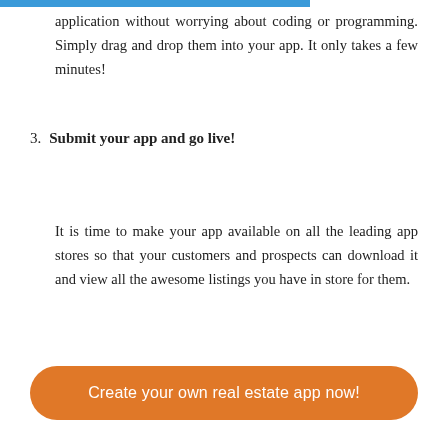application without worrying about coding or programming. Simply drag and drop them into your app. It only takes a few minutes!
3. Submit your app and go live!
It is time to make your app available on all the leading app stores so that your customers and prospects can download it and view all the awesome listings you have in store for them.
Create your own real estate app now!